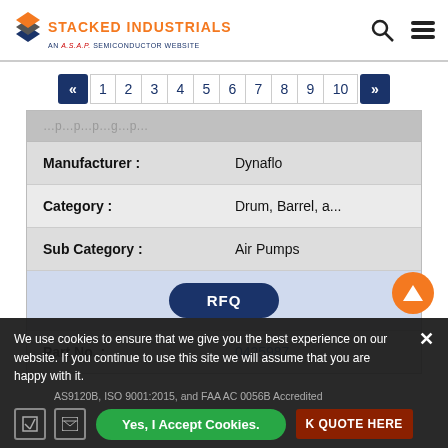[Figure (logo): Stacked Industrials logo with orange stacked layers icon and ASAP Semiconductor website tagline]
1 2 3 4 5 6 7 8 9 10 (pagination)
| Field | Value |
| --- | --- |
| Manufacturer : | Dynaflo |
| Category : | Drum, Barrel, a... |
| Sub Category : | Air Pumps |
|  | RFQ |
| Part No. : | 0425987 |
We use cookies to ensure that we give you the best experience on our website. If you continue to use this site we will assume that you are happy with it.
AS9120B, ISO 9001:2015, and FAA AC 0056B Accredited
Yes, I Accept Cookies.
K QUOTE HERE